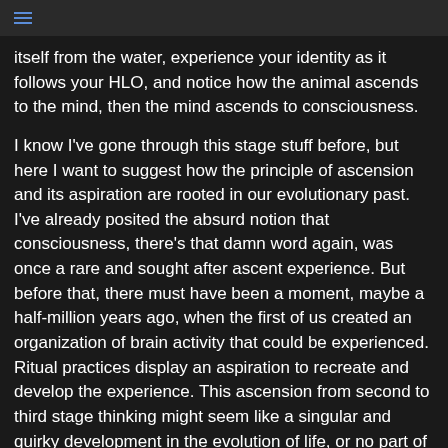itself from the water, experience your identity as it follows your HLO, and notice how the animal ascends to the mind, then the mind ascends to consciousness.
I know I've gone through this stage stuff before, but here I want to suggest how the principle of ascension and its aspiration are rooted in our evolutionary past. I've already posited the absurd notion that consciousness, there's that damn word again, was once a rare and sought after ascent experience. But before that, there must have been a moment, maybe a half-million years ago, when the first of us created an organization of brain activity that could be experienced. Ritual practices display an aspiration to recreate and develop the experience. This ascension from second to third stage thinking might seem like a singular and quirky development in the evolution of life, or no part of it at all, but the principle of ascension seems to have precedents in nature. Even though, as I describe it, we ascended outside of physical reality, and have mentioned stuff about inevitable destruction. I'm not suggesting that the process is unnatural or not part of some creator's design. After all, there